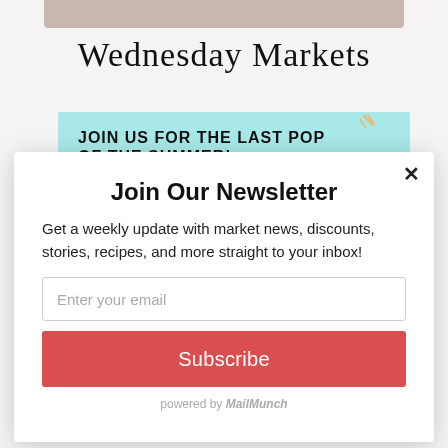[Figure (screenshot): Partial background showing Wednesday Markets page with a photo strip at top, large serif title 'Wednesday Markets', and a cyan/teal banner with text 'JOIN US FOR THE LAST POP OF THE SUMMER!']
Join Our Newsletter
Get a weekly update with market news, discounts, stories, recipes, and more straight to your inbox!
Enter your email
Subscribe
powered by MailMunch